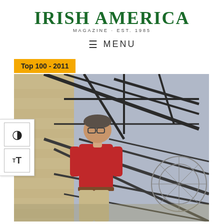IRISH AMERICA
MAGAZINE · EST. 1985
≡ MENU
Top 100 - 2011
[Figure (photo): A man in a red shirt standing amid large metal sculptural framework structures outside a stone building, looking upward or to the side.]